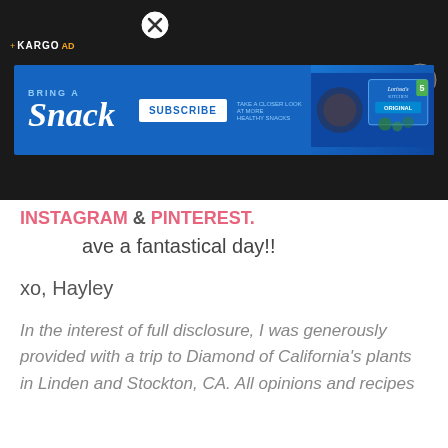[Figure (screenshot): Dark overlay ad banner with Kargo Ad label, close buttons, and a blue advertisement banner for Lorissa's Kitchen snacks with SUBSCRIBE button]
INSTAGRAM & PINTEREST.
Have a fantastical day!!
xo, Hayley
In the interest of full disclosure, I was generously provided with a trip to Diamond of California's plants in Linden and Stockton, CA. All opinions and recipes